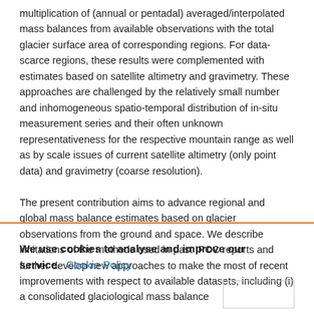multiplication of (annual or pentadal) averaged/interpolated mass balances from available observations with the total glacier surface area of corresponding regions. For data-scarce regions, these results were complemented with estimates based on satellite altimetry and gravimetry. These approaches are challenged by the relatively small number and inhomogeneous spatio-temporal distribution of in-situ measurement series and their often unknown representativeness for the respective mountain range as well as by scale issues of current satellite altimetry (only point data) and gravimetry (coarse resolution).

The present contribution aims to advance regional and global mass balance estimates based on glacier observations from the ground and space. We describe limitations of the methods used in past IPCC reports and further develop new approaches to make the most of recent improvements with respect to available datasets, including (i) a consolidated glaciological mass balance
We use cookies to analyse and improve our service. Cookie Policy